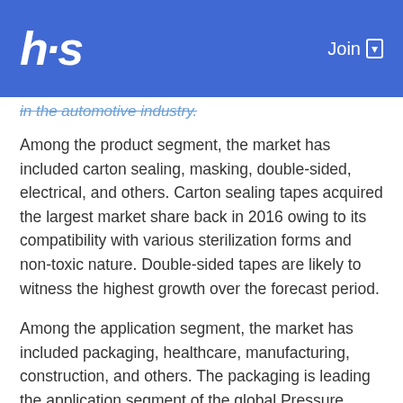hs | Join
in the automotive industry.
Among the product segment, the market has included carton sealing, masking, double-sided, electrical, and others. Carton sealing tapes acquired the largest market share back in 2016 owing to its compatibility with various sterilization forms and non-toxic nature. Double-sided tapes are likely to witness the highest growth over the forecast period.
Among the application segment, the market has included packaging, healthcare, manufacturing, construction, and others. The packaging is leading the application segment of the global Pressure Sensitive Tapes Market trends. The high growth in the packaging industry across the globe is the